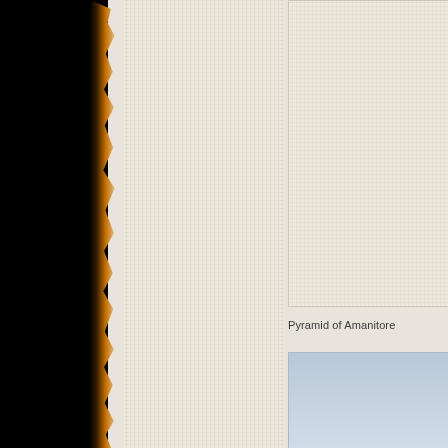[Figure (photo): Left portion: black background with torn/burned paper edge showing amber and golden glow along the torn edge, transitioning to cream linen-textured paper. Middle column: plain cream/off-white linen textured paper panel. Upper right: cream linen-textured paper panel with light border. Lower right: blue-grey sky photograph, partially visible.]
Pyramid of Amanitore